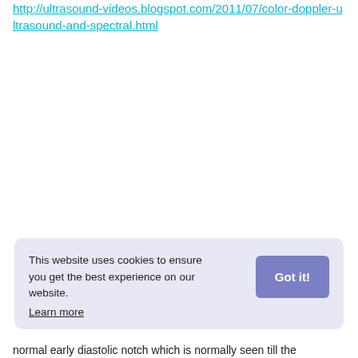http://ultrasound-videos.blogspot.com/2011/07/color-doppler-ultrasound-and-spectral.html
This website uses cookies to ensure you get the best experience on our website. Learn more
normal early diastolic notch which is normally seen till the